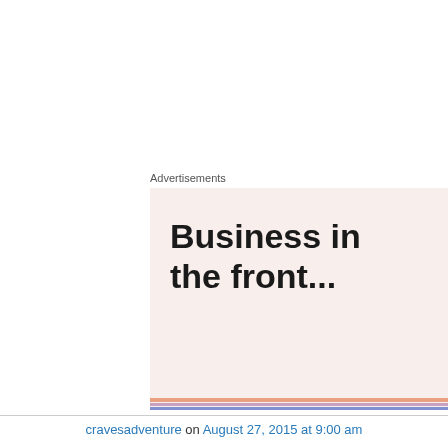Advertisements
[Figure (illustration): Advertisement banner with text 'Business in the front...' on a light pink/cream background with decorative colored lines at the bottom]
cravesadventure on August 27, 2015 at 9:00 am
What a Wonderful Weekend! That ice cream
Privacy & Cookies: This site uses cookies. By continuing to use this website, you agree to their use.
To find out more, including how to control cookies, see here: Cookie Policy
Close and accept